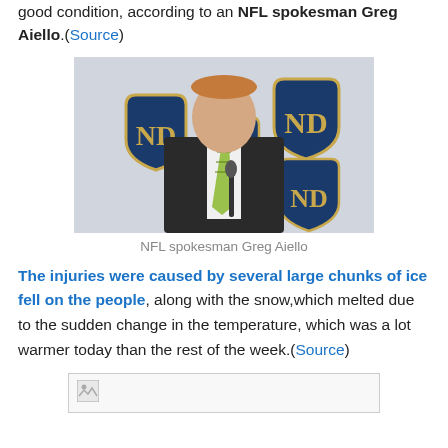good condition, according to an NFL spokesman Greg Aiello.(Source)
[Figure (photo): NFL spokesman Greg Aiello seated at a press conference in front of Notre Dame logo backdrop]
NFL spokesman Greg Aiello
The injuries were caused by several large chunks of ice fell on the people, along with the snow,which melted due to the sudden change in the temperature, which was a lot warmer today than the rest of the week.(Source)
[Figure (photo): Broken/missing image placeholder]